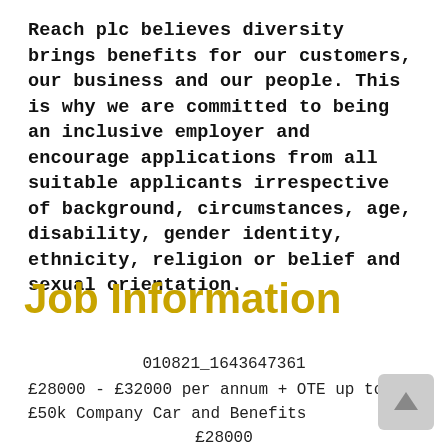Reach plc believes diversity brings benefits for our customers, our business and our people. This is why we are committed to being an inclusive employer and encourage applications from all suitable applicants irrespective of background, circumstances, age, disability, gender identity, ethnicity, religion or belief and sexual orientation.
Job Information
010821_1643647361
£28000 - £32000 per annum + OTE up to £50k Company Car and Benefits
£28000